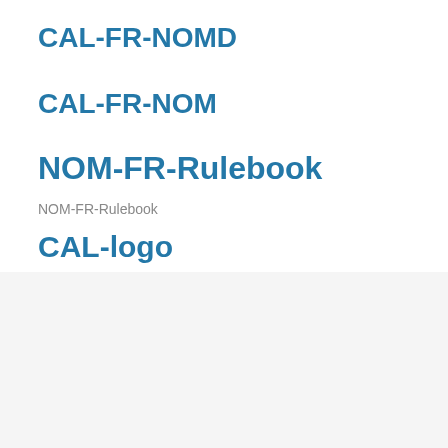CAL-FR-NOMD
CAL-FR-NOM
NOM-FR-Rulebook
NOM-FR-Rulebook
CAL-logo
We use cookies on our website to give you the most relevant experience by remembering your preferences and repeat visits. By clicking “Accept All”, you consent to the use of ALL the cookies. However, you may visit "Cookie Settings" to provide a controlled consent.
Cookie Settings
Accept All